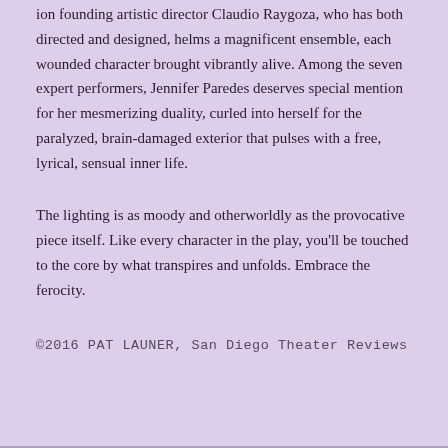ion founding artistic director Claudio Raygoza, who has both directed and designed, helms a magnificent ensemble, each wounded character brought vibrantly alive. Among the seven expert performers, Jennifer Paredes deserves special mention for her mesmerizing duality, curled into herself for the paralyzed, brain-damaged exterior that pulses with a free, lyrical, sensual inner life.
The lighting is as moody and otherworldly as the provocative piece itself. Like every character in the play, you'll be touched to the core by what transpires and unfolds. Embrace the ferocity.
©2016 PAT LAUNER, San Diego Theater Reviews